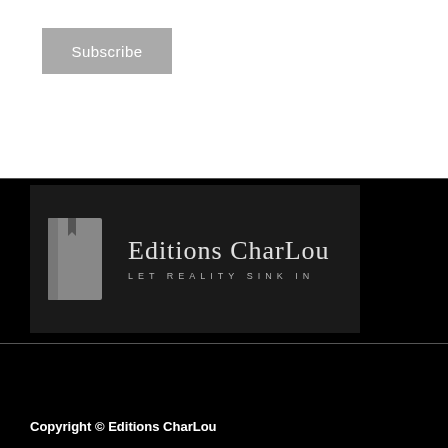Subscribe
[Figure (logo): Editions CharLou logo with a book icon on a dark background. Text reads 'Editions CharLou' with tagline 'LET REALITY SINK IN']
Copyright © Editions CharLou